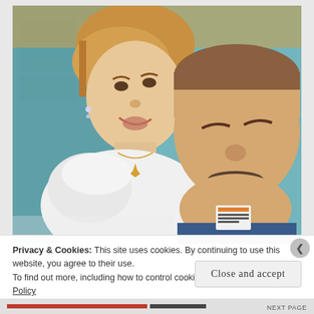[Figure (photo): A selfie photo of two smiling people: a woman with blonde/auburn hair wearing a white ruffled blouse and heart necklace, and a man with a mustache wearing a name badge, both smiling widely. Background shows teal/turquoise painted brick wall.]
Privacy & Cookies: This site uses cookies. By continuing to use this website, you agree to their use.
To find out more, including how to control cookies, see here: Our Cookie Policy
Close and accept